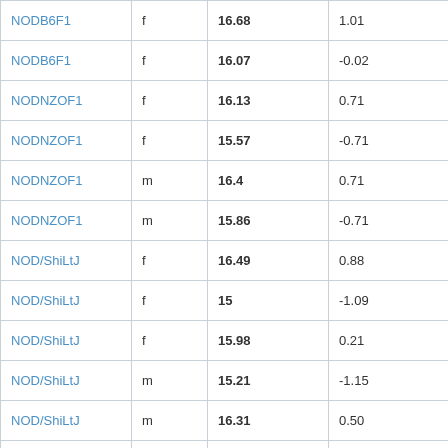| NODB6F1 | f | 16.68 | 1.01 | 1202 |
| NODB6F1 | f | 16.07 | -0.02 | 1195 |
| NODNZOF1 | f | 16.13 | 0.71 | 1167 |
| NODNZOF1 | f | 15.57 | -0.71 | 1029 |
| NODNZOF1 | m | 16.4 | 0.71 | 1138 |
| NODNZOF1 | m | 15.86 | -0.71 | 1241 |
| NOD/ShiLtJ | f | 16.49 | 0.88 | 245 |
| NOD/ShiLtJ | f | 15 | -1.09 | 248 |
| NOD/ShiLtJ | f | 15.98 | 0.21 | 249 |
| NOD/ShiLtJ | m | 15.21 | -1.15 | 244 |
| NOD/ShiLtJ | m | 16.31 | 0.50 | 246 |
| NOD/ShiLtJ | m | 16.41 | 0.65 | 247 |
| NZO129SF1 | f | 16.56 | 0.00 | 1160 |
| NZOAF1 | f | 15.59 | 0.00 | 1010 |
| NZOB6F1 | m | 16.61 | 0.00 | 1127 |